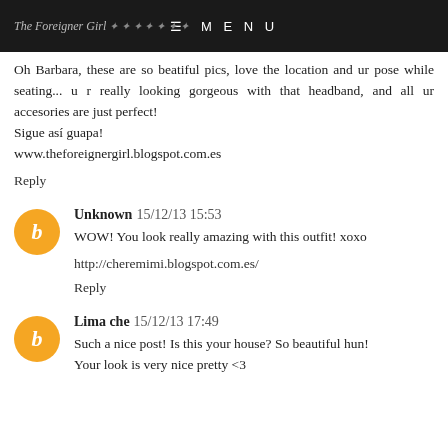The Foreigner Girl  ☰ M E N U
Oh Barbara, these are so beatiful pics, love the location and ur pose while seating... u r really looking gorgeous with that headband, and all ur accesories are just perfect!
Sigue así guapa!
www.theforeignergirl.blogspot.com.es
Reply
Unknown  15/12/13 15:53
WOW! You look really amazing with this outfit! xoxo

http://cheremimi.blogspot.com.es/
Reply
Lima che  15/12/13 17:49
Such a nice post! Is this your house? So beautiful hun!
Your look is very nice pretty <3